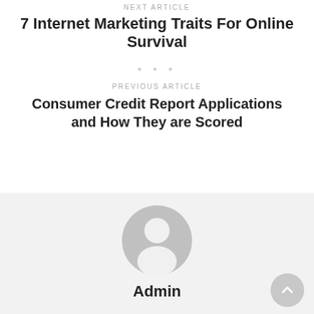NEXT ARTICLE
7 Internet Marketing Traits For Online Survival
• • •
PREVIOUS ARTICLE
Consumer Credit Report Applications and How They are Scored
[Figure (illustration): Generic user avatar icon — grey circle with white silhouette of a person]
Admin